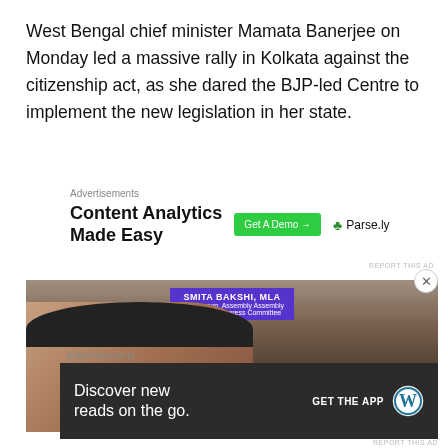West Bengal chief minister Mamata Banerjee on Monday led a massive rally in Kolkata against the citizenship act, as she dared the BJP-led Centre to implement the new legislation in her state.
[Figure (infographic): Advertisement: Content Analytics Made Easy - Get A Demo button and Parse.ly logo]
[Figure (photo): Photo of Mamata Banerjee at a rally with a purple banner reading SMITA BAKSHI, MLA - Chairperson, Assembly Assembly, Trinamool Congress Committee in the background]
[Figure (infographic): Advertisement: Discover new reads on the go. GET THE APP with WordPress icon]